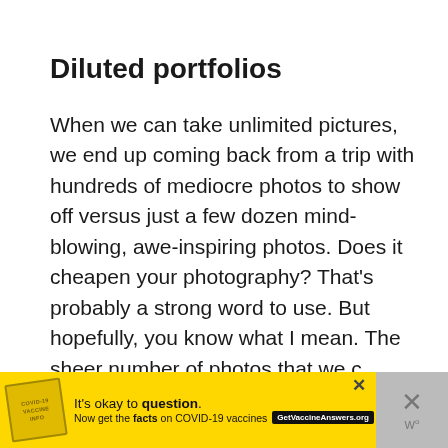Diluted portfolios
When we can take unlimited pictures, we end up coming back from a trip with hundreds of mediocre photos to show off versus just a few dozen mind-blowing, awe-inspiring photos.  Does it cheapen your photography?  That's probably a strong word to use.  But hopefully, you know what I mean.  The sheer number of photos that we can take may have the effect of watering them all down.
[Figure (screenshot): UI overlay: heart/favorite button (circular white button with heart icon) and share button (circular white button with share icon), plus a 'WHAT'S NEXT' card showing camera image and text 'Kaizen and Fujifilm's...']
[Figure (screenshot): Advertisement banner with yellow background: stamp graphic on left, text 'It's okay to question. Now get the facts on COVID-19 vaccines' with GetVaccineAnswers.org button, close X button, and gray panel on right with X and W degree symbol]